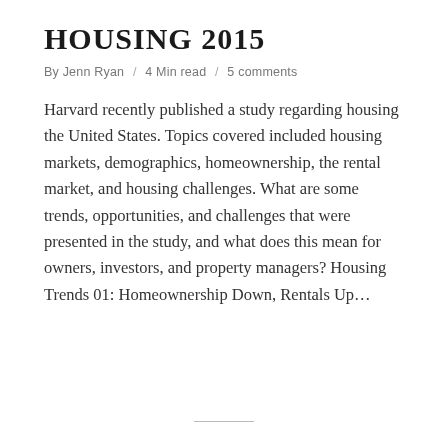HOUSING 2015
By Jenn Ryan / 4 Min read / 5 comments
Harvard recently published a study regarding housing the United States. Topics covered included housing markets, demographics, homeownership, the rental market, and housing challenges. What are some trends, opportunities, and challenges that were presented in the study, and what does this mean for owners, investors, and property managers? Housing Trends 01: Homeownership Down, Rentals Up…